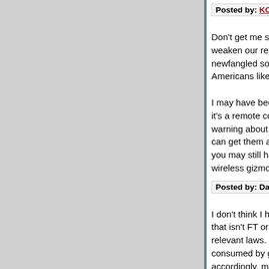Posted by: KCinDC | December 08, 2006 at 09:48 AM
Don't get me started on Canadian Football. They weaken our resolve to stick with the running game newfangled soccer style kickers getting in somehow Americans like Lou Groza.
I may have been a bit rash about defending cell p it's a remote control to operate DaveC, which is b warning about phones: Keep at least one wired p can get them anywhere.) If you have a big ice sto you may still have phone service, but not if you a wireless gizmos that need wall outlet power.
Posted by: DaveC | December 08, 2006 at 09:50 AM
I don't think I have to choose between deciding, m that isn't FT or Cadbury, and also deciding to do w relevant laws. In this case, I opt for both. I also de consumed by guilt: it's a simple, one-time decisio accordingly, move on.
I think of this as just another way of registering a